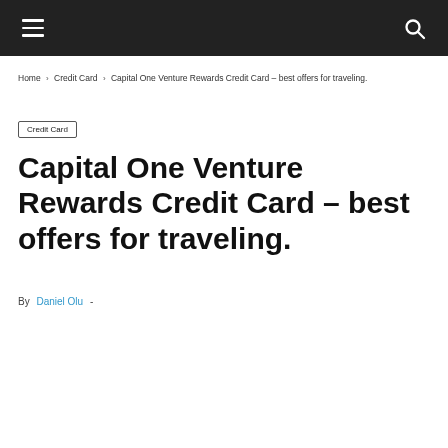Navigation bar with hamburger menu and search icon
Home › Credit Card › Capital One Venture Rewards Credit Card – best offers for traveling.
Credit Card
Capital One Venture Rewards Credit Card – best offers for traveling.
By Daniel Olu -